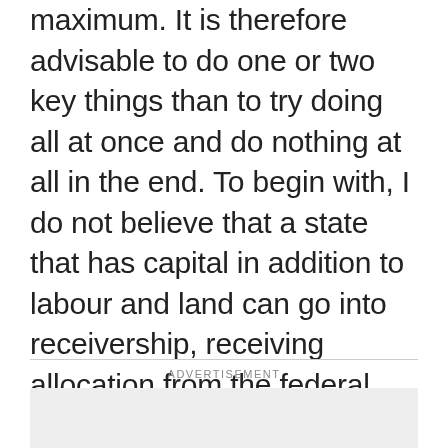maximum. It is therefore advisable to do one or two key things than to try doing all at once and do nothing at all in the end. To begin with, I do not believe that a state that has capital in addition to labour and land can go into receivership, receiving allocation from the federal government. I believe that fiscal federalism is conceived in states of differentiation, specialization, competition and complementarity, under one national state of free democratic enterprise, social justice and inclusion. The status of the state therefore, as an imperial proxy, is the full business action of a sovereign federation.
ADVERTISEMENT